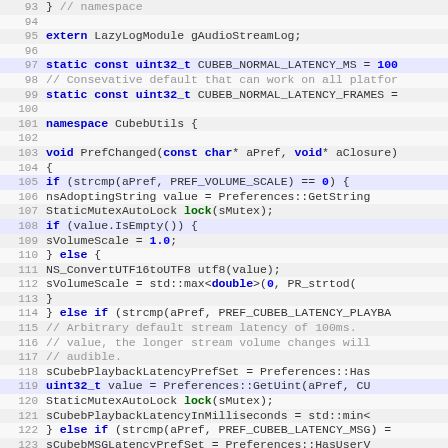[Figure (screenshot): Source code viewer showing C++ code lines 93-124 from a Mozilla/Gecko audio stream file, with line numbers, syntax highlighting (keywords in bold blue, function names in green, numeric literals in blue, comments in gray), alternating row background colors.]